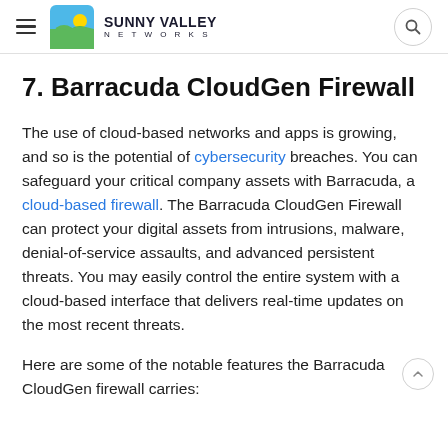Sunny Valley Networks
7. Barracuda CloudGen Firewall
The use of cloud-based networks and apps is growing, and so is the potential of cybersecurity breaches. You can safeguard your critical company assets with Barracuda, a cloud-based firewall. The Barracuda CloudGen Firewall can protect your digital assets from intrusions, malware, denial-of-service assaults, and advanced persistent threats. You may easily control the entire system with a cloud-based interface that delivers real-time updates on the most recent threats.
Here are some of the notable features the Barracuda CloudGen firewall carries: